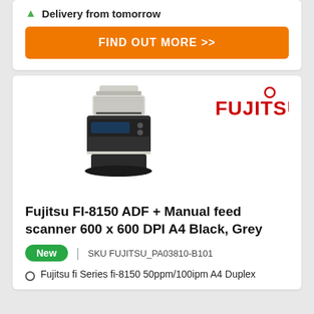Delivery from tomorrow
FIND OUT MORE >>
[Figure (photo): Fujitsu fi-8150 document scanner, grey and black, ADF with paper feed tray on top]
[Figure (logo): Fujitsu logo in red text]
Fujitsu FI-8150 ADF + Manual feed scanner 600 x 600 DPI A4 Black, Grey
New
SKU FUJITSU_PA03810-B101
Fujitsu fi Series fi-8150 50ppm/100ipm A4 Duplex